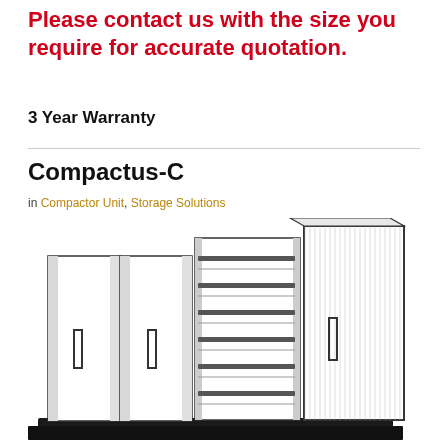Please contact us with the size you require for accurate quotation.
3 Year Warranty
Compactus-C
in Compactor Unit, Storage Solutions
[Figure (illustration): Line drawing illustration of a Compactus-C mobile shelving compactor unit, showing multiple closed panel units and one open shelving bay with several shelves, all mounted on a black base track system, viewed in perspective.]